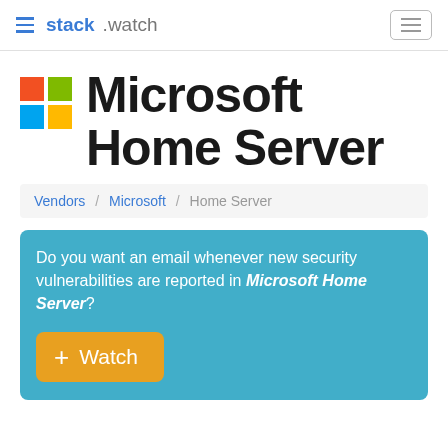stack.watch — navigation header with hamburger menu and menu button
Microsoft Home Server
Vendors / Microsoft / Home Server
Do you want an email whenever new security vulnerabilities are reported in Microsoft Home Server?
+ Watch